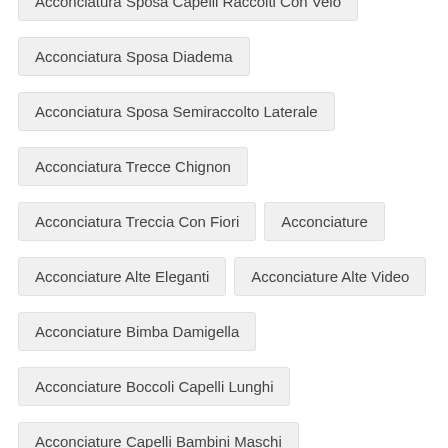Acconciatura Sposa Capelli Raccolti Con Velo
Acconciatura Sposa Diadema
Acconciatura Sposa Semiraccolto Laterale
Acconciatura Trecce Chignon
Acconciatura Treccia Con Fiori
Acconciature
Acconciature Alte Eleganti
Acconciature Alte Video
Acconciature Bimba Damigella
Acconciature Boccoli Capelli Lunghi
Acconciature Capelli Bambini Maschi
Acconciature Capelli Corti Fai Da Te Facili
Acconciature Capelli Corti Laterali
Acconciature Capelli Corti Trecce
Acconciature Capelli Invitata Matrimonio